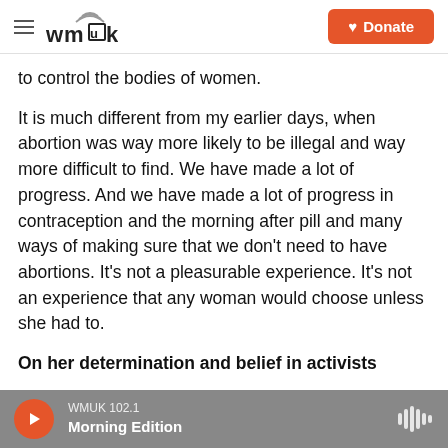WMUK — Donate
to control the bodies of women.
It is much different from my earlier days, when abortion was way more likely to be illegal and way more difficult to find. We have made a lot of progress. And we have made a lot of progress in contraception and the morning after pill and many ways of making sure that we don't need to have abortions. It's not a pleasurable experience. It's not an experience that any woman would choose unless she had to.
On her determination and belief in activists
WMUK 102.1 Morning Edition